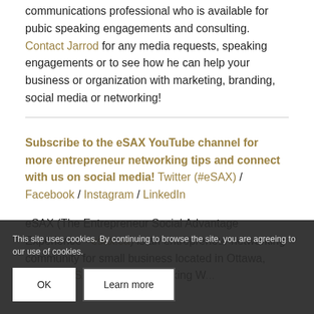communications professional who is available for pubic speaking engagements and consulting. Contact Jarrod for any media requests, speaking engagements or to see how he can help your business or organization with marketing, branding, social media or networking!
Subscribe to the eSAX YouTube channel for more entrepreneur networking tips and connect with us on social media! Twitter (#eSAX) / Facebook / Instagram / LinkedIn
eSAX (The Entrepreneur Social Advantage Experience - esax.ca) is an entrepreneur networking community for small business located in Ottawa, Onta... #eSAX Makes Networking W...
This site uses cookies. By continuing to browse the site, you are agreeing to our use of cookies.